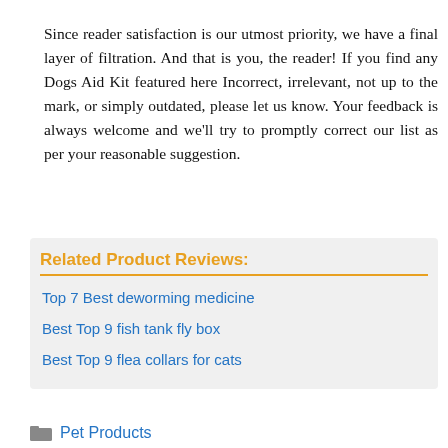Since reader satisfaction is our utmost priority, we have a final layer of filtration. And that is you, the reader! If you find any Dogs Aid Kit featured here Incorrect, irrelevant, not up to the mark, or simply outdated, please let us know. Your feedback is always welcome and we'll try to promptly correct our list as per your reasonable suggestion.
Related Product Reviews:
Top 7 Best deworming medicine
Best Top 9 fish tank fly box
Best Top 9 flea collars for cats
Pet Products